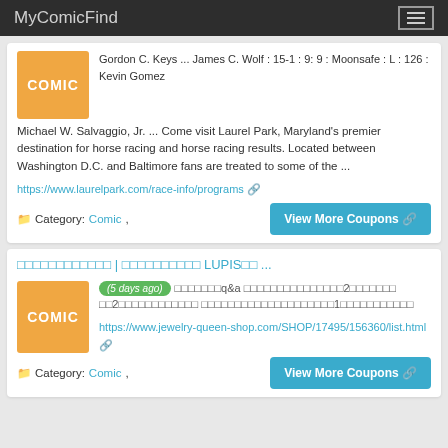MyComicFind
Gordon C. Keys ... James C. Wolf : 15-1 : 9: 9 : Moonsafe : L : 126 : Kevin Gomez Michael W. Salvaggio, Jr. ... Come visit Laurel Park, Maryland's premier destination for horse racing and horse racing results. Located between Washington D.C. and Baltimore fans are treated to some of the ...
https://www.laurelpark.com/race-info/programs
Category: Comic,
View More Coupons
□□□□□□□□□□□□ | □□□□□□□□□□ LUPIS□□ ...
(5 days ago) □□□□□□□q&a □□□□□□□□□□□□□□□2□□□□□□□ □□2□□□□□□□□□□□□ □□□□□□□□□□□□□□□□□□□□1□□□□□□□□□□□
https://www.jewelry-queen-shop.com/SHOP/17495/156360/list.html
Category: Comic,